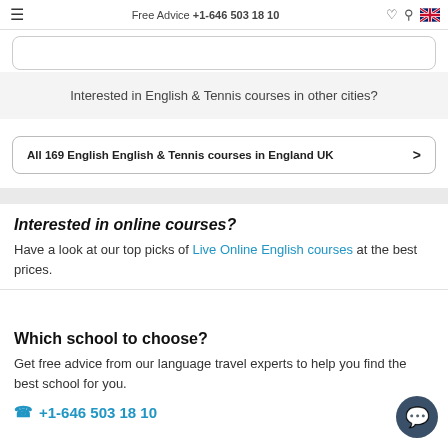Free Advice +1-646 503 18 10
Interested in English & Tennis courses in other cities?
All 169 English English & Tennis courses in England UK >
Interested in online courses?
Have a look at our top picks of Live Online English courses at the best prices.
Which school to choose?
Get free advice from our language travel experts to help you find the best school for you.
+1-646 503 18 10